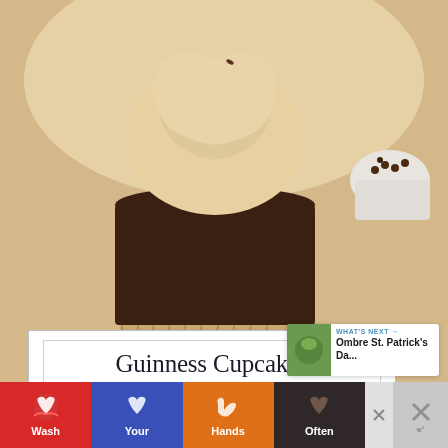[Figure (photo): Close-up photograph of chocolate Guinness cupcakes with swirled Bailey's Irish Cream frosting topped with chocolate sprinkles. The top half shows a single cupcake prominently centered with creamy frosting, and the bottom half shows multiple cupcakes with brown chocolate stick sprinkles on the frosting. Background includes a white bowl of chocolate chips.]
Guinness Cupcakes w/ Bailey's Frosting
SAVORYEXPERIMENTS.COM
56
WHAT'S NEXT → Ombre St. Patrick's Da...
[Figure (infographic): Advertisement banner: Wash Your Hands Often - public health ad with colorful hand-washing icons on red, blue, orange, and dark brown backgrounds]